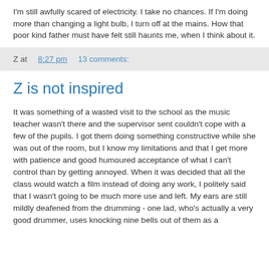I'm still awfully scared of electricity. I take no chances. If I'm doing more than changing a light bulb, I turn off at the mains. How that poor kind father must have felt still haunts me, when I think about it.
Z at 8:27 pm   13 comments:
Z is not inspired
It was something of a wasted visit to the school as the music teacher wasn't there and the supervisor sent couldn't cope with a few of the pupils. I got them doing something constructive while she was out of the room, but I know my limitations and that I get more with patience and good humoured acceptance of what I can't control than by getting annoyed. When it was decided that all the class would watch a film instead of doing any work, I politely said that I wasn't going to be much more use and left. My ears are still mildly deafened from the drumming - one lad, who's actually a very good drummer, uses knocking nine bells out of them as a